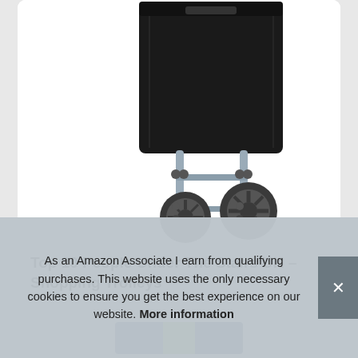[Figure (photo): A black shopping trolley bag with a silver metal frame and two wheels, photographed on a white background. The trolley has a large black fabric bag compartment and sturdy pneumatic-style wheels.]
Top 10 People Under The Stairs UK – Shopping Trolleys
[Figure (photo): Partial view of another shopping trolley product with blue, green, and navy colors, partially obscured by the cookie consent banner.]
As an Amazon Associate I earn from qualifying purchases. This website uses the only necessary cookies to ensure you get the best experience on our website. More information